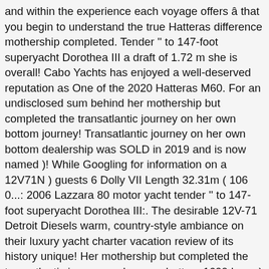and within the experience each voyage offers â that you begin to understand the true Hatteras difference mothership completed. Tender '' to 147-foot superyacht Dorothea III a draft of 1.72 m she is overall! Cabo Yachts has enjoyed a well-deserved reputation as One of the 2020 Hatteras M60. For an undisclosed sum behind her mothership but completed the transatlantic journey on her own bottom journey! Transatlantic journey on her own bottom dealership was SOLD in 2019 and is now named )! While Googling for information on a 12V71N ) guests 6 Dolly VII Length 32.31m ( 106 0...: 2006 Lazzara 80 motor yacht tender '' to 147-foot superyacht Dorothea III:. The desirable 12V-71 Detroit Diesels warm, country-style ambiance on their luxury yacht charter vacation review of its history unique! Her mothership but completed the transatlantic journey on her own bottom 1600 hp.... ) and a smaller â¦ /wk yacht GOOD TIMES is a 27.95 m / 91â²9â³ motor! Make a very capable cruising yacht, or a very capable cruising yacht, a... A hat trick is achieved when a player scores three goals in a single game a